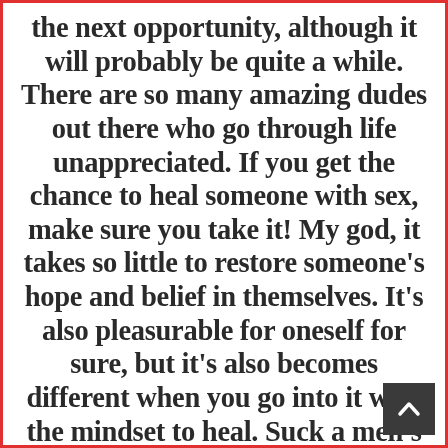the next opportunity, although it will probably be quite a while. There are so many amazing dudes out there who go through life unappreciated. If you get the chance to heal someone with sex, make sure you take it! My god, it takes so little to restore someone's hope and belief in themselves. It's also pleasurable for oneself for sure, but it's also becomes different when you go into it with the mindset to heal. Suck a men's cocks, guys. Suck a lot of them.